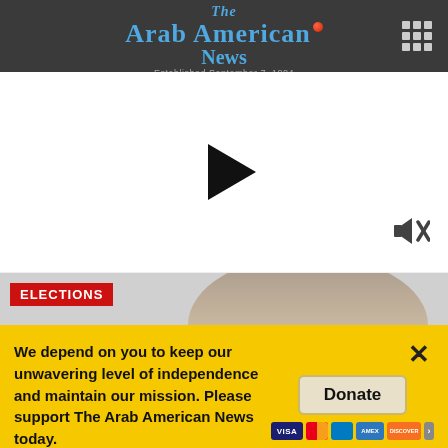The Arab American News — Established September 7, 1984
[Figure (screenshot): Video player area with black play button triangle in center, mute icon at bottom right]
[Figure (photo): Partial view of a person's head/hair with an ELECTIONS red label badge in the lower left]
We depend on you to keep our unwavering level of independence and maintain our mission. Please support The Arab American News today.